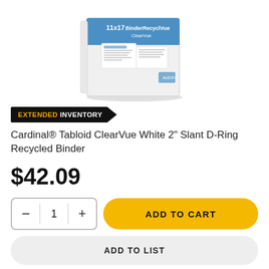[Figure (photo): Product image of a white Cardinal 11x17 Binder RecyclVue binder box against a white background, partial top view]
EXTENDED INVENTORY
Cardinal® Tabloid ClearVue White 2" Slant D-Ring Recycled Binder
$42.09
- 1 + ADD TO CART
ADD TO LIST
ADD TO QUOTE